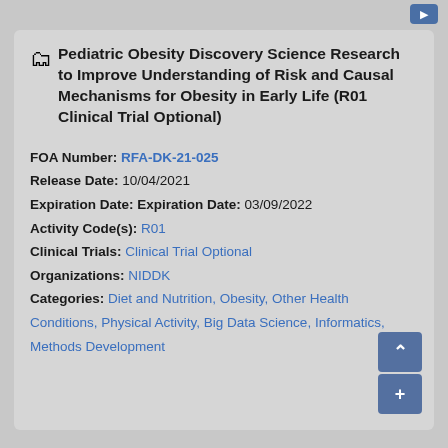Pediatric Obesity Discovery Science Research to Improve Understanding of Risk and Causal Mechanisms for Obesity in Early Life (R01 Clinical Trial Optional)
FOA Number: RFA-DK-21-025
Release Date: 10/04/2021
Expiration Date: Expiration Date: 03/09/2022
Activity Code(s): R01
Clinical Trials: Clinical Trial Optional
Organizations: NIDDK
Categories: Diet and Nutrition, Obesity, Other Health Conditions, Physical Activity, Big Data Science, Informatics, Methods Development